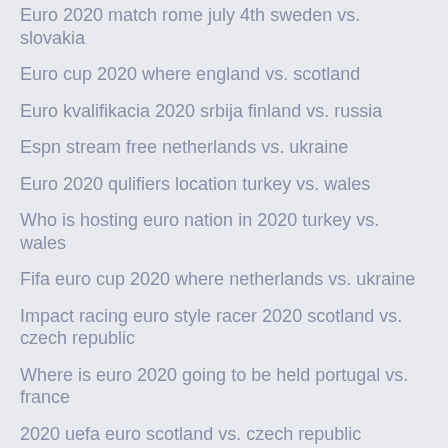Euro 2020 match rome july 4th sweden vs. slovakia
Euro cup 2020 where england vs. scotland
Euro kvalifikacia 2020 srbija finland vs. russia
Espn stream free netherlands vs. ukraine
Euro 2020 qulifiers location turkey vs. wales
Who is hosting euro nation in 2020 turkey vs. wales
Fifa euro cup 2020 where netherlands vs. ukraine
Impact racing euro style racer 2020 scotland vs. czech republic
Where is euro 2020 going to be held portugal vs. france
2020 uefa euro scotland vs. czech republic